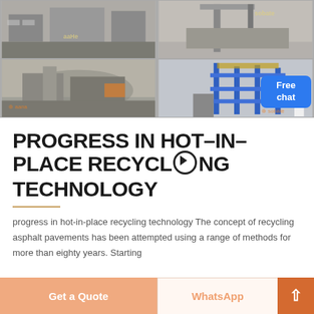[Figure (photo): Four-panel photo collage showing industrial/mining equipment and construction sites with machinery, scaffolding, and quarry/open-pit operations.]
PROGRESS IN HOT-IN-PLACE RECYCLING TECHNOLOGY
progress in hot-in-place recycling technology The concept of recycling asphalt pavements has been attempted using a range of methods for more than eighty years. Starting
Get a Quote | WhatsApp